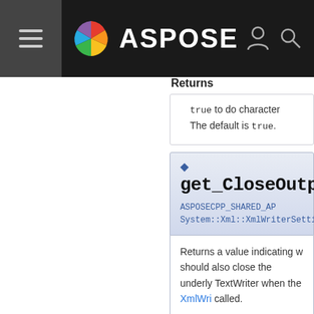ASPOSE
Returns
true to do character. The default is true.
get_CloseOutput()
ASPOSECPP_SHARED_API System::Xml::XmlWriterSetti
Returns a value indicating w should also close the underly TextWriter when the XmlWri called.
Returns
true to also close the